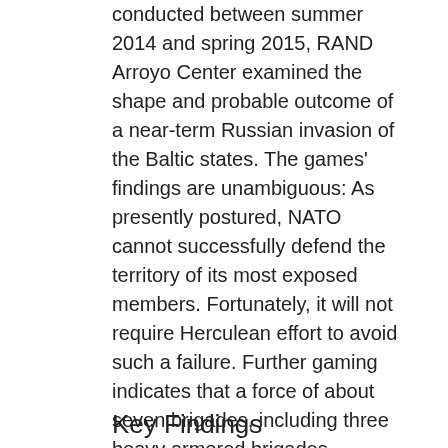conducted between summer 2014 and spring 2015, RAND Arroyo Center examined the shape and probable outcome of a near-term Russian invasion of the Baltic states. The games' findings are unambiguous: As presently postured, NATO cannot successfully defend the territory of its most exposed members. Fortunately, it will not require Herculean effort to avoid such a failure. Further gaming indicates that a force of about seven brigades, including three heavy armored brigades—adequately supported by air power, land-based fires and other enablers on the ground and ready to fight at the onset of hostilities—could suffice to prevent the rapid overrun of the Baltic states.
Key Findings